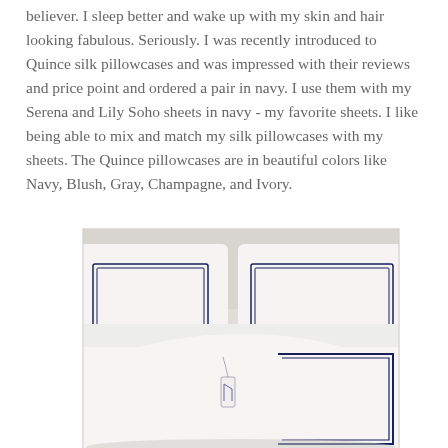believer. I sleep better and wake up with my skin and hair looking fabulous. Seriously. I was recently introduced to Quince silk pillowcases and was impressed with their reviews and price point and ordered a pair in navy. I use them with my Serena and Lily Soho sheets in navy - my favorite sheets. I like being able to mix and match my silk pillowcases with my sheets. The Quince pillowcases are in beautiful colors like Navy, Blush, Gray, Champagne, and Ivory.
[Figure (photo): Photo of white bed pillowcases with navy blue trim/border detailing, arranged on a bed. One pillow in the foreground has a monogram tag. The linens are crisp white with double navy stripe borders.]